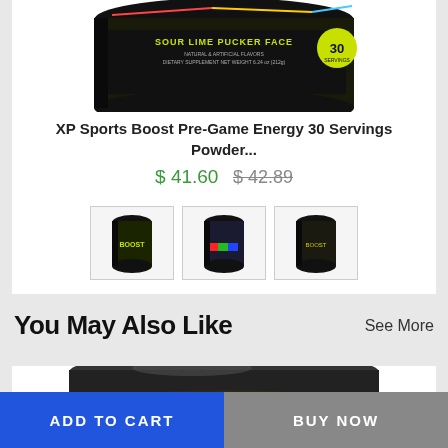[Figure (photo): XP Sports Boost Pre-Game Energy powder container, Sour Lime Pucker Face flavor, 30 servings, dark container with lime green label]
XP Sports Boost Pre-Game Energy 30 Servings Powder...
$ 41.60  $ 42.89
[Figure (photo): Three thumbnail images of XP Sports Boost powder containers in different flavors]
You May Also Like
See More
[Figure (photo): Second product - a dark jar with black lid, partially visible]
ADD TO CART
BUY NOW